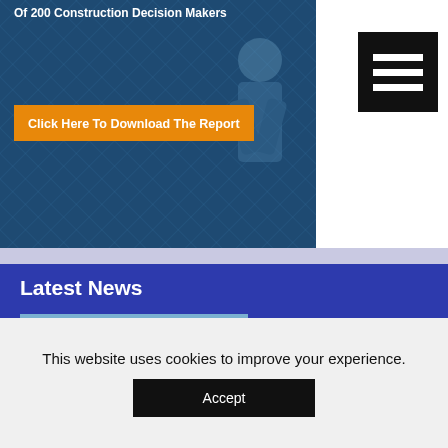Of 200 Construction Decision Makers
[Figure (screenshot): Orange download button on dark blue construction-themed banner with text 'Click Here To Download The Report']
[Figure (illustration): Black hamburger menu icon (three horizontal white lines on black square background)]
Latest News
[Figure (photo): Aerial photograph of Alexander Stadium in Birmingham, showing the oval athletics track with blue and red lanes, green football pitch in center, surrounded by stands and urban area]
Commonwealth stadium builds social value
The lead contractor behind the redevelopment of Birmingham's iconic Alexander Stadium is reflecting on the
This website uses cookies to improve your experience.
Accept